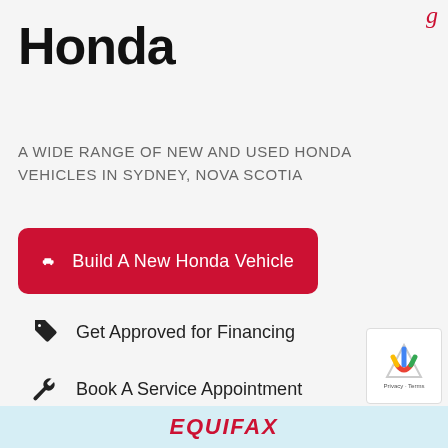Honda
A WIDE RANGE OF NEW AND USED HONDA VEHICLES IN SYDNEY, NOVA SCOTIA
Build A New Honda Vehicle
Get Approved for Financing
Book A Service Appointment
[Figure (logo): Equifax logo in red italic bold text on a light blue banner at the bottom of the page]
[Figure (other): reCAPTCHA widget with Privacy and Terms text in the bottom right corner]